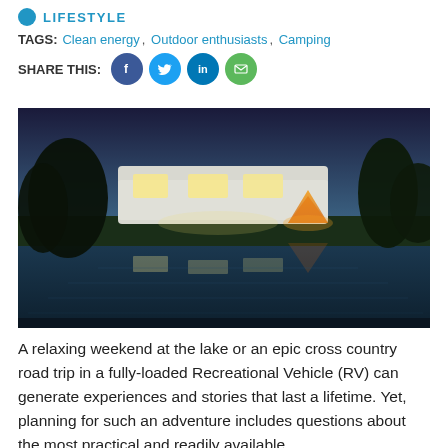LIFESTYLE
TAGS: Clean energy, Outdoor enthusiasts, Camping
SHARE THIS: [social icons: Facebook, Twitter, LinkedIn, Email]
[Figure (photo): An RV and a glowing orange tent parked beside a calm lake at dusk, with their reflections visible in the still water. Trees silhouetted against a deep blue twilight sky in the background.]
A relaxing weekend at the lake or an epic cross country road trip in a fully-loaded Recreational Vehicle (RV) can generate experiences and stories that last a lifetime. Yet, planning for such an adventure includes questions about the most practical and readily available